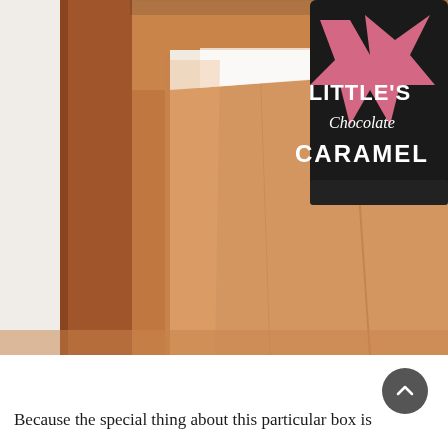[Figure (photo): Close-up photo of an open cardboard shipping box with a product inside. The product has a dark (black) label with pink star graphics and white text reading 'LITTLE'S Chocolate CARAMEL'. The box is tan/kraft colored cardboard, photographed on a light background.]
Because the special thing about this particular box is